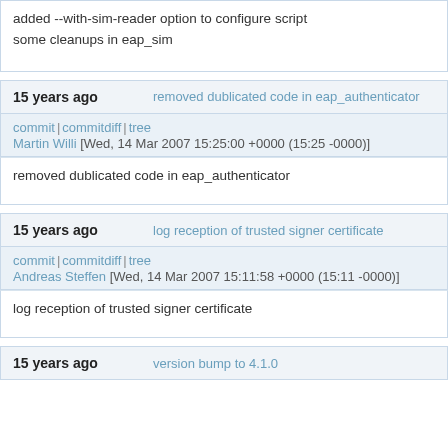added --with-sim-reader option to configure script
some cleanups in eap_sim
15 years ago   removed dublicated code in eap_authenticator
commit | commitdiff | tree
Martin Willi [Wed, 14 Mar 2007 15:25:00 +0000 (15:25 -0000)]
removed dublicated code in eap_authenticator
15 years ago   log reception of trusted signer certificate
commit | commitdiff | tree
Andreas Steffen [Wed, 14 Mar 2007 15:11:58 +0000 (15:11 -0000)]
log reception of trusted signer certificate
15 years ago   version bump to 4.1.0